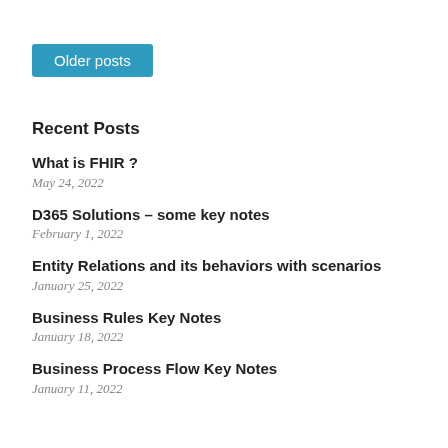[Figure (other): Teal/blue button labeled 'Older posts']
Recent Posts
What is FHIR ?
May 24, 2022
D365 Solutions – some key notes
February 1, 2022
Entity Relations and its behaviors with scenarios
January 25, 2022
Business Rules Key Notes
January 18, 2022
Business Process Flow Key Notes
January 11, 2022